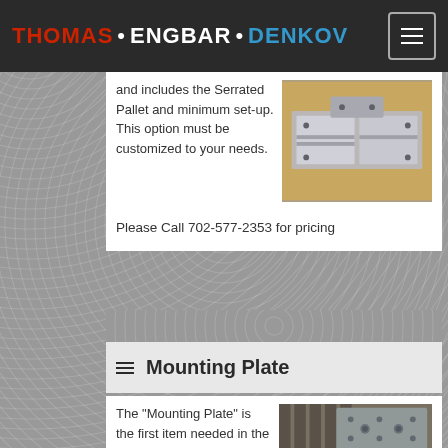THOMAS • ENGBAR • DENKOV
and includes the Serrated Pallet and minimum set-up. This option must be customized to your needs.
[Figure (photo): Photo of metal serrated pallet tooling fixture components on a wooden surface]
Please Call 702-577-2353 for pricing
Mounting Plate
The "Mounting Plate" is the first item needed in the Ted Tooling Pallet System. All other Pallets mount to this. Shown here, a
[Figure (photo): Photo of a metal mounting plate with holes, sitting on a machined slotted surface]